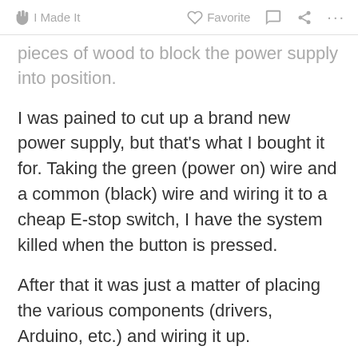✋ I Made It    ♡ Favorite  💬  ⋯
pieces of wood to block the power supply into position.
I was pained to cut up a brand new power supply, but that's what I bought it for. Taking the green (power on) wire and a common (black) wire and wiring it to a cheap E-stop switch, I have the system killed when the button is pressed.
After that it was just a matter of placing the various components (drivers, Arduino, etc.) and wiring it up.
💡 Tip  ❓ Question  💬 Comment